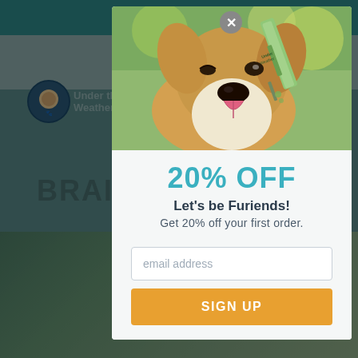[Figure (screenshot): Website screenshot background showing teal top bar, navigation with logo, and blurred page heading 'BRAIN... ON DOGS' with a dog photo below]
[Figure (photo): Photo of a corgi dog licking a green dropper/syringe, used as promotional image in popup modal]
20% OFF
Let's be Furiends!
Get 20% off your first order.
email address
SIGN UP